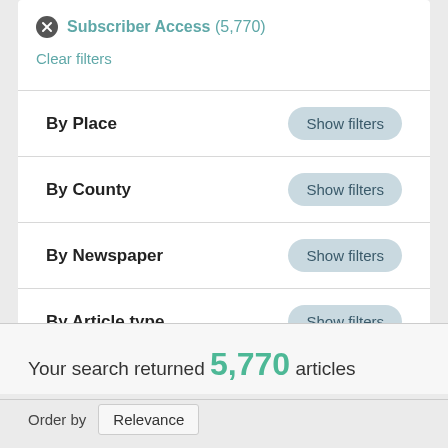Subscriber Access (5,770)
Clear filters
By Place — Show filters
By County — Show filters
By Newspaper — Show filters
By Article type — Show filters
Your search returned 5,770 articles
Order by Relevance